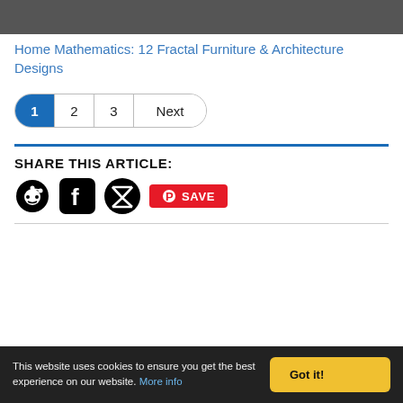[Figure (photo): Dark image with abstract lines/patterns at top of page]
Home Mathematics: 12 Fractal Furniture & Architecture Designs
Pagination: 1 (active), 2, 3, Next
SHARE THIS ARTICLE:
[Figure (infographic): Social share icons: Reddit, Facebook, Twitter, Pinterest Save button]
This website uses cookies to ensure you get the best experience on our website. More info | Got it!